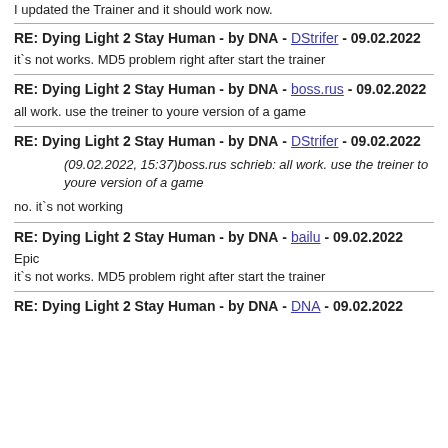I updated the Trainer and it should work now.
RE: Dying Light 2 Stay Human - by DNA - DStrifer - 09.02.2022
it`s not works. MD5 problem right after start the trainer
RE: Dying Light 2 Stay Human - by DNA - boss.rus - 09.02.2022
all work. use the treiner to youre version of a game
RE: Dying Light 2 Stay Human - by DNA - DStrifer - 09.02.2022
(09.02.2022, 15:37)boss.rus schrieb: all work. use the treiner to youre version of a game
no. it`s not working
RE: Dying Light 2 Stay Human - by DNA - bailu - 09.02.2022
Epic
it`s not works. MD5 problem right after start the trainer
RE: Dying Light 2 Stay Human - by DNA - DNA - 09.02.2022